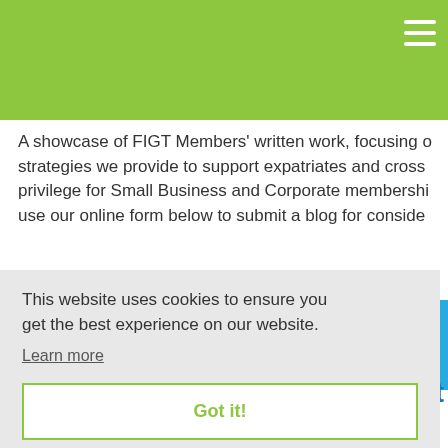A showcase of FIGT Members' written work, focusing on strategies we provide to support expatriates and cross cultural privilege for Small Business and Corporate membership. Please use our online form below to submit a blog for consideration.
This website uses cookies to ensure you get the best experience on our website.
Learn more
Got it!
Grat
Member: Mariam Ottim